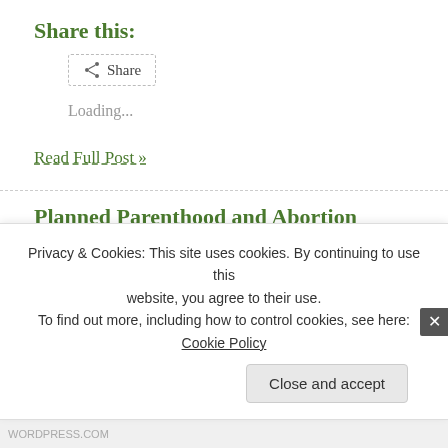Share this:
Share
Loading...
Read Full Post »
Planned Parenthood and Abortion Misinformation
Posted in Uncategorized on July 21, 2010| 1 Comment »
Live Action has released another video showing a PP worker misleading a yo... over the human identity and developmental status of her purportedly 10 wee...
Privacy & Cookies: This site uses cookies. By continuing to use this website, you agree to their use.
To find out more, including how to control cookies, see here: Cookie Policy
Close and accept